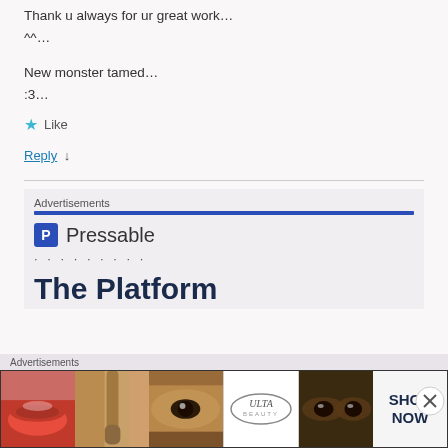Thank u always for ur great work…
^^…
New monster tamed…
:3…
★ Like
Reply ↓
[Figure (screenshot): Pressable advertisement banner with logo, dots, and 'The Platform' heading]
[Figure (infographic): Ulta Beauty advertisement banner with makeup images (lips, brush, eye, Ulta logo, eyes, SHOP NOW)]